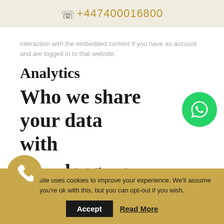+447400016800
interaction with the embedded content if you have an account and are logged in to that website.
Analytics
Who we share your data with
How long we
This website uses cookies to improve your experience. We'll assume you're ok with this, but you can opt-out if you wish.
Accept
Read More